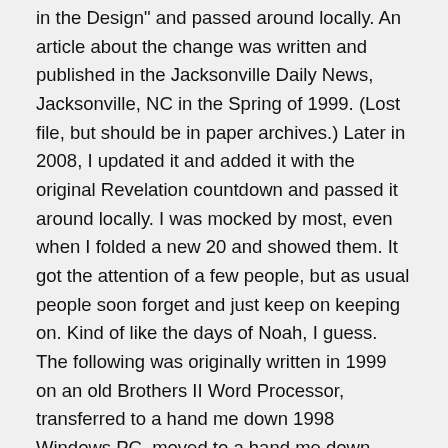in the Design" and passed around locally. An article about the change was written and published in the Jacksonville Daily News, Jacksonville, NC in the Spring of 1999. (Lost file, but should be in paper archives.) Later in 2008, I updated it and added it with the original Revelation countdown and passed it around locally. I was mocked by most, even when I folded a new 20 and showed them. It got the attention of a few people, but as usual people soon forget and just keep on keeping on. Kind of like the days of Noah, I guess. The following was originally written in 1999 on an old Brothers II Word Processor, transferred to a hand me down 1998 Windows PC, moved to a hand me down 2005 Windows HP Laptop, and Today is on my new Windows 10 PC. First time online was July 2020. New to internet.
Sign in the Design
A a a a a a a a a a a a a a a a a a a a a a a a a a a a a